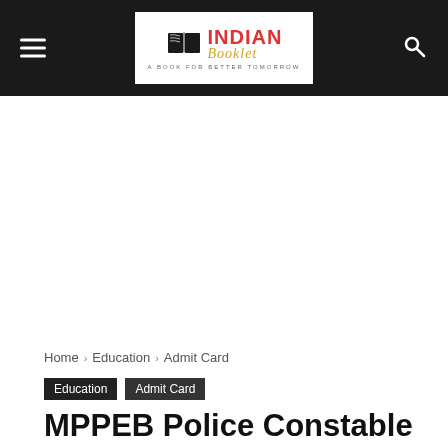Indian Booklet — A Book For Better Tomorrow
Home › Education › Admit Card
Education   Admit Card
MPPEB Police Constable Admit Card 2022 Online